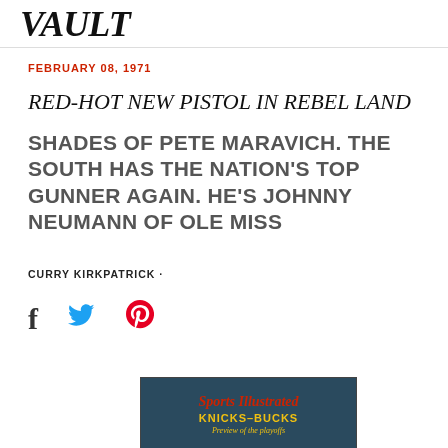VAULT
FEBRUARY 08, 1971
RED-HOT NEW PISTOL IN REBEL LAND
SHADES OF PETE MARAVICH. THE SOUTH HAS THE NATION'S TOP GUNNER AGAIN. HE'S JOHNNY NEUMANN OF OLE MISS
CURRY KIRKPATRICK ·
[Figure (illustration): Sports Illustrated magazine cover showing KNICKS-BUCKS preview of the playoffs text on dark teal background]
Sports Illustrated KNICKS–BUCKS Preview of the playoffs